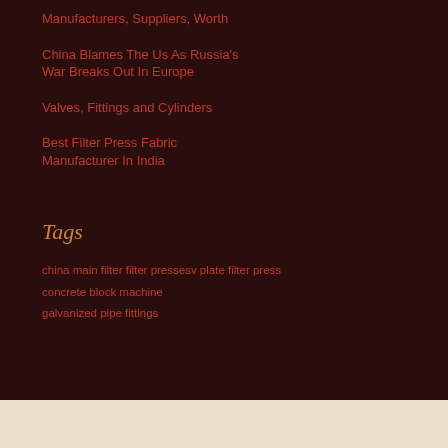Cement Block Machine Manufacturers, Suppliers, Worth
China Blames The Us As Russia's War Breaks Out In Europe
Valves, Fittings and Cylinders
Best Filter Press Fabric Manufacturer In India
Tags
china main filter filter pressesv plate filter press
concrete block machine
galvanized pipe fittings